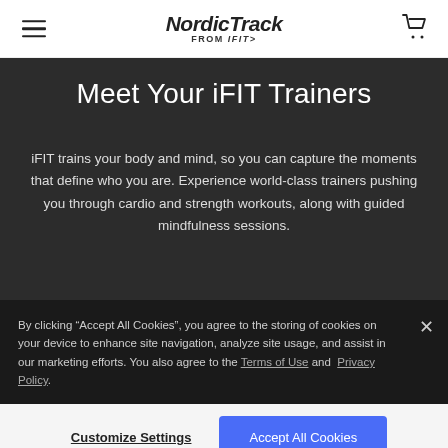NordicTrack FROM iFIT
Meet Your iFIT Trainers
iFIT trains your body and mind, so you can capture the moments that define who you are. Experience world-class trainers pushing you through cardio and strength workouts, along with guided mindfulness sessions.
By clicking “Accept All Cookies”, you agree to the storing of cookies on your device to enhance site navigation, analyze site usage, and assist in our marketing efforts. You also agree to the Terms of Use and Privacy Policy.
“The array of workout choices is staggering